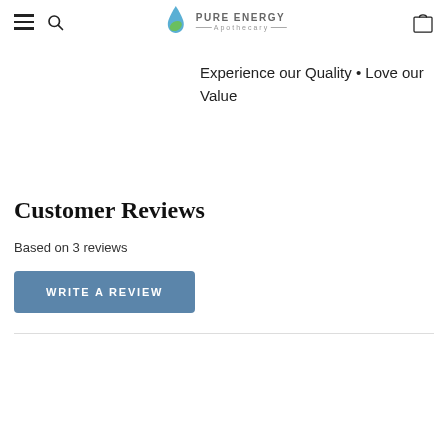Pure Energy Apothecary — navigation bar with hamburger menu, search icon, logo, and cart icon
Experience our Quality • Love our Value
Customer Reviews
Based on 3 reviews
WRITE A REVIEW